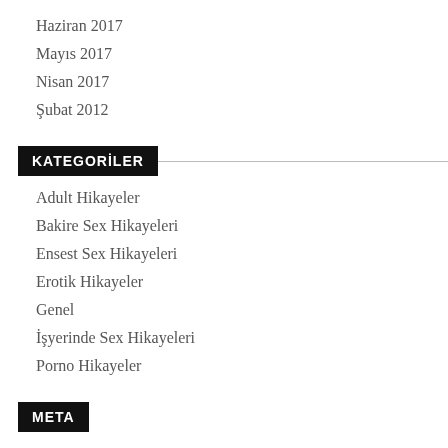Haziran 2017
Mayıs 2017
Nisan 2017
Şubat 2012
KATEGORİLER
Adult Hikayeler
Bakire Sex Hikayeleri
Ensest Sex Hikayeleri
Erotik Hikayeler
Genel
İşyerinde Sex Hikayeleri
Porno Hikayeler
META